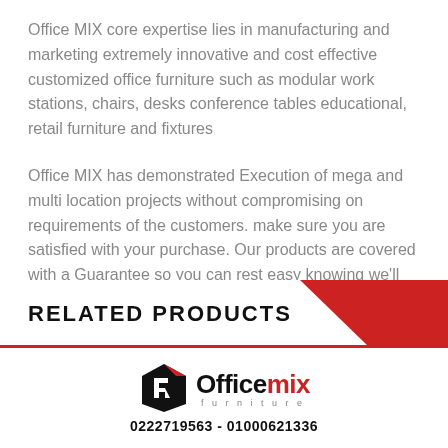Office MIX core expertise lies in manufacturing and marketing extremely innovative and cost effective customized office furniture such as modular work stations, chairs, desks conference tables educational, retail furniture and fixtures
Office MIX has demonstrated Execution of mega and multi location projects without compromising on requirements of the customers. make sure you are satisfied with your purchase. Our products are covered with a Guarantee so you can rest easy knowing we'll take care of your needs.
RELATED PRODUCTS
[Figure (logo): Officemix furniture logo with stylized building/furniture icon in black and red, with text 'Officemix' and 'furniture' below]
0222719563 - 01000621336